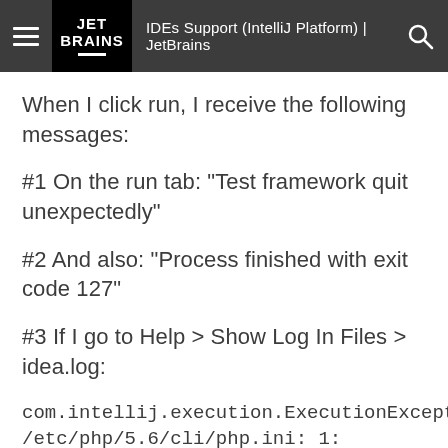IDEs Support (IntelliJ Platform) | JetBrains
When I click run, I receive the following messages:
#1 On the run tab: "Test framework quit unexpectedly"
#2 And also: "Process finished with exit code 127"
#3 If I go to Help > Show Log In Files > idea.log:
com.intellij.execution.ExecutionException: /etc/php/5.6/cli/php.ini: 1: /etc/php/5.6/cli/php.ini: [PHP]: not found /etc/php/5.6/cli/php.ini: 3: /etc/php/5.6/cli/php.ini: Syntax error; ";"